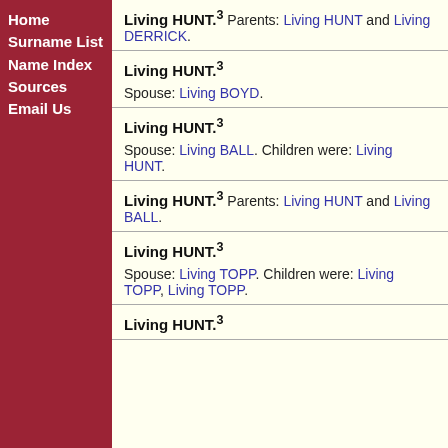Home
Surname List
Name Index
Sources
Email Us
Living HUNT.3 Parents: Living HUNT and Living DERRICK.
Living HUNT.3 Spouse: Living BOYD.
Living HUNT.3 Spouse: Living BALL. Children were: Living HUNT.
Living HUNT.3 Parents: Living HUNT and Living BALL.
Living HUNT.3 Spouse: Living TOPP. Children were: Living TOPP, Living TOPP.
Living HUNT.3